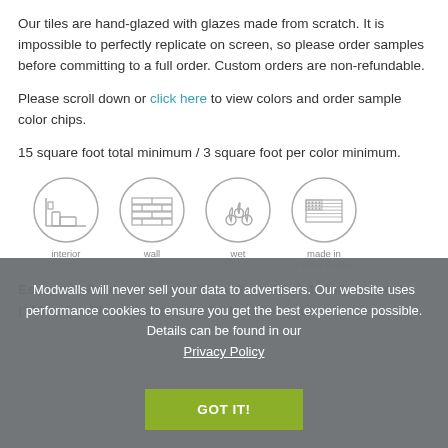Our tiles are hand-glazed with glazes made from scratch. It is impossible to perfectly replicate on screen, so please order samples before committing to a full order. Custom orders are non-refundable.
Please scroll down or click here to view colors and order sample color chips.
15 square foot total minimum / 3 square foot per color minimum.
[Figure (infographic): Four circular icons in a row: interior (room with baseboard), wall (brick wall), wet (water drops), made in United States (US flag). Each has a label beneath.]
Estimated Production Lead Time: 9 weeks (0-100sf), 9+ weeks (101+ sf) -- Please contact us for lead time quote
Modwalls will never sell your data to advertisers. Our website uses performance cookies to ensure you get the best experience possible. Details can be found in our Privacy Policy
GOT IT!